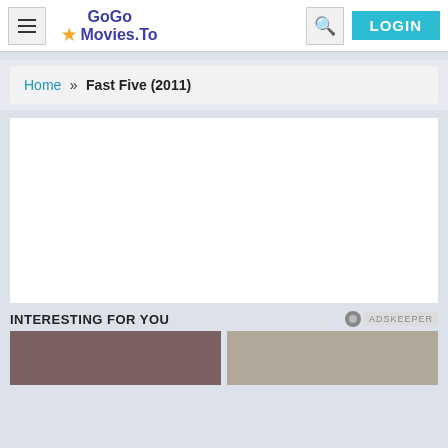GoGo Movies.To — LOGIN
Home » Fast Five (2011)
[Figure (other): Large white video player area (blank/empty)]
INTERESTING FOR YOU
[Figure (photo): Two thumbnail images side by side at bottom of page]